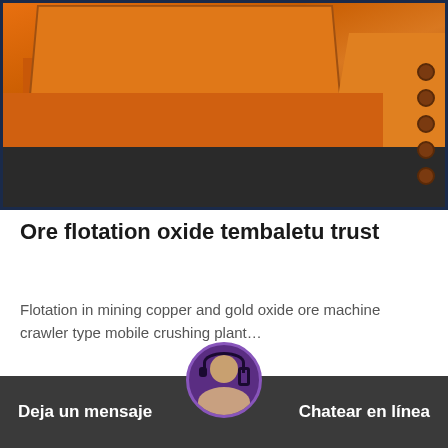[Figure (photo): Orange industrial mining/crushing equipment photographed from close angle, showing heavy steel frame structure with bolts, on a factory floor.]
Ore flotation oxide tembaletu trust
Flotation in mining copper and gold oxide ore machine crawler type mobile crushing plant…
Read More
Deja un mensaje
Chatear en línea